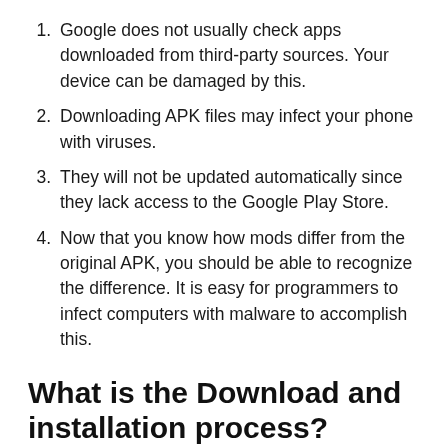Google does not usually check apps downloaded from third-party sources. Your device can be damaged by this.
Downloading APK files may infect your phone with viruses.
They will not be updated automatically since they lack access to the Google Play Store.
Now that you know how mods differ from the original APK, you should be able to recognize the difference. It is easy for programmers to infect computers with malware to accomplish this.
What is the Download and installation process?
We invite you to our website if you would like to see